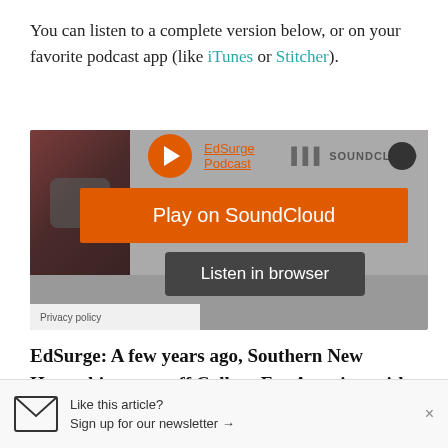You can listen to a complete version below, or on your favorite podcast app (like iTunes or Stitcher).
[Figure (screenshot): SoundCloud embedded podcast player widget for EdSurge Podcast with orange Play on SoundCloud button and Listen in browser button]
EdSurge: A few years ago, Southern New Hampshire spun off College For America, with the idea of expanding access to higher ed by trying a competency-based model. You had ambitious enrollment goals. Have you seen the demand that
Like this article? Sign up for our newsletter →